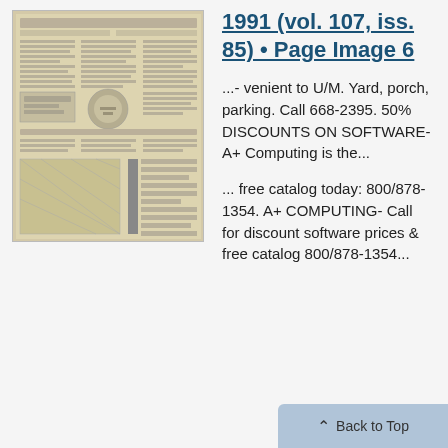[Figure (photo): Scanned newspaper page showing classified ads and listings, aged sepia-toned paper with columns of text and small advertisements]
1991 (vol. 107, iss. 85) • Page Image 6
...- venient to U/M. Yard, porch, parking. Call 668-2395. 50% DISCOUNTS ON SOFTWARE- A+ Computing is the...
... free catalog today: 800/878-1354. A+ COMPUTING- Call for discount software prices & free catalog 800/878-1354...